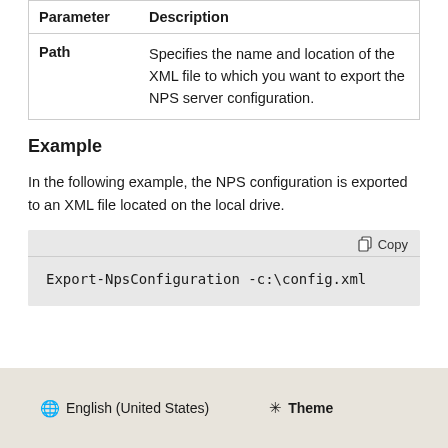| Parameter | Description |
| --- | --- |
| Path | Specifies the name and location of the XML file to which you want to export the NPS server configuration. |
Example
In the following example, the NPS configuration is exported to an XML file located on the local drive.
[Figure (screenshot): Code block showing: Export-NpsConfiguration -c:\config.xml with a Copy button in the toolbar]
English (United States)  Theme